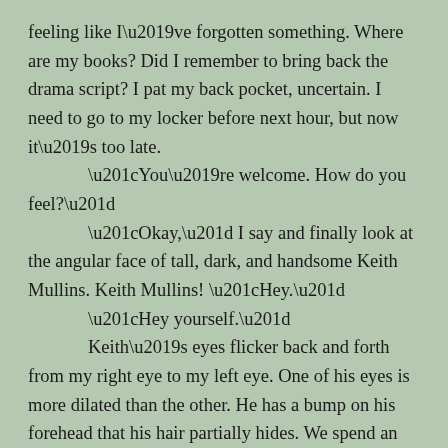feeling like I've forgotten something. Where are my books? Did I remember to bring back the drama script? I pat my back pocket, uncertain. I need to go to my locker before next hour, but now it's too late.
“You’re welcome. How do you feel?”
“Okay,” I say and finally look at the angular face of tall, dark, and handsome Keith Mullins. Keith Mullins! “Hey.”
“Hey yourself.”
Keith’s eyes flicker back and forth from my right eye to my left eye. One of his eyes is more dilated than the other. He has a bump on his forehead that his hair partially hides. We spend an uncomfortable moment evaluating one another, alone in the hallway.
I remember something and say, “I heard you broke your